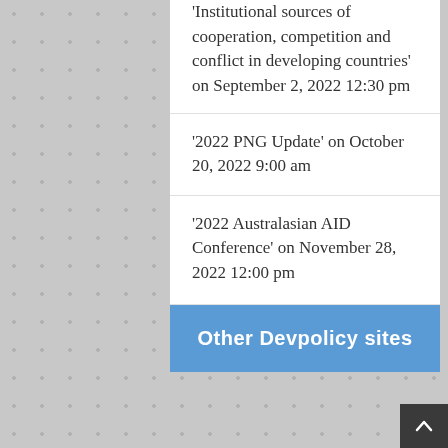'Institutional sources of cooperation, competition and conflict in developing countries' on September 2, 2022 12:30 pm
'2022 PNG Update' on October 20, 2022 9:00 am
'2022 Australasian AID Conference' on November 28, 2022 12:00 pm
Other Devpolicy sites